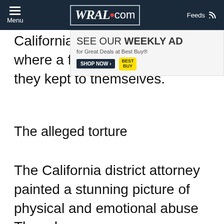Menu | WRAL.com | Feeds
[Figure (screenshot): Best Buy advertisement banner: SEE OUR WEEKLY AD for Great Deals at Best Buy® with SHOP NOW button and Best Buy logo]
California, they lived in Texas, where a former neighbor said they kept to themselves.
The alleged torture
The California district attorney painted a stunning picture of physical and emotional abuse Thursday.